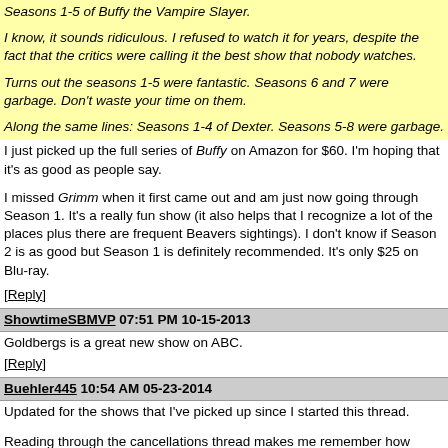Seasons 1-5 of Buffy the Vampire Slayer.
I know, it sounds ridiculous. I refused to watch it for years, despite the fact that the critics were calling it the best show that nobody watches.
Turns out the seasons 1-5 were fantastic. Seasons 6 and 7 were garbage. Don't waste your time on them.
Along the same lines: Seasons 1-4 of Dexter. Seasons 5-8 were garbage.
I just picked up the full series of Buffy on Amazon for $60. I'm hoping that it's as good as people say.
I missed Grimm when it first came out and am just now going through Season 1. It's a really fun show (it also helps that I recognize a lot of the places plus there are frequent Beavers sightings). I don't know if Season 2 is as good but Season 1 is definitely recommended. It's only $25 on Blu-ray.
[Reply]
ShowtimeSBMVP 07:51 PM 10-15-2013
Goldbergs is a great new show on ABC.
[Reply]
Buehler445 10:54 AM 05-23-2014
Updated for the shows that I've picked up since I started this thread.
Reading through the cancellations thread makes me remember how many shows I don't know about.
Also, there seem to be a lot of decent shows that are coming out of Amazon and Netflix. I want to see House of Cards, but I watched a pilot for the Rebels which